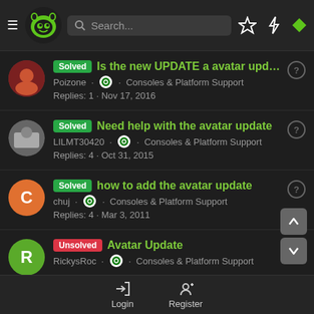Navigation bar with menu, logo, search, and icons
Solved | Is the new UPDATE a avatar update? | Poizone · Consoles & Platform Support | Replies: 1 · Nov 17, 2016
Solved | Need help with the avatar update | LILMT30420 · Consoles & Platform Support | Replies: 4 · Oct 31, 2015
Solved | how to add the avatar update | chuj · Consoles & Platform Support | Replies: 4 · Mar 3, 2011
Unsolved | Avatar Update | RickysRoc · Consoles & Platform Support
Login   Register